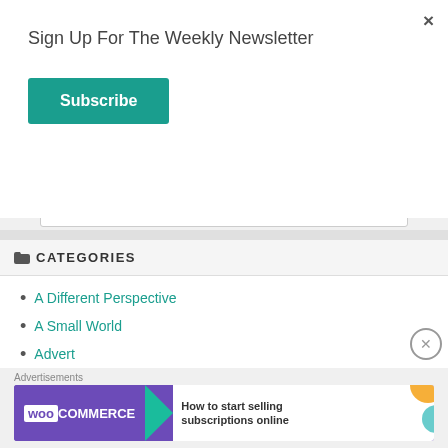Sign Up For The Weekly Newsletter
Subscribe
CATEGORIES
A Different Perspective
A Small World
Advert
Advert Posts
An Emotional Affair
Awards
[Figure (other): WooCommerce advertisement banner: 'How to start selling subscriptions online']
Advertisements